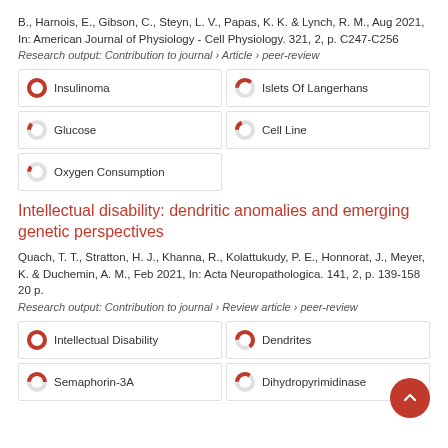B., Harnois, E., Gibson, C., Steyn, L. V., Papas, K. K. & Lynch, R. M., Aug 2021, In: American Journal of Physiology - Cell Physiology. 321, 2, p. C247-C256
Research output: Contribution to journal › Article › peer-review
[Figure (infographic): Keyword badges with donut-style percentage indicators: Insulinoma 100%, Islets Of Langerhans ~38%, Glucose ~13%, Cell Line ~18%, Oxygen Consumption ~11%]
Intellectual disability: dendritic anomalies and emerging genetic perspectives
Quach, T. T., Stratton, H. J., Khanna, R., Kolattukudy, P. E., Honnorat, J., Meyer, K. & Duchemin, A. M., Feb 2021, In: Acta Neuropathologica. 141, 2, p. 139-158 20 p.
Research output: Contribution to journal › Review article › peer-review
[Figure (infographic): Keyword badges: Intellectual Disability 100%, Dendrites ~65%, Semaphorin-3A ~50%, Dihydropyrimidinase ~35%]